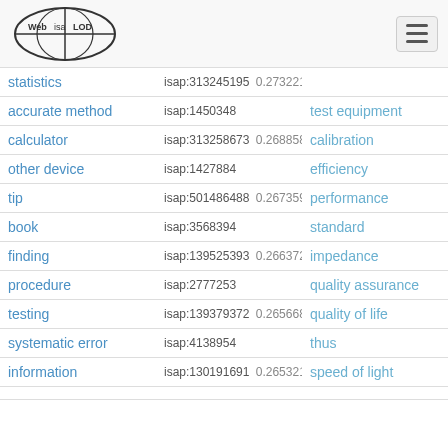Web isa LOD
| Term | ISAP | Related Term | ISAP2 |
| --- | --- | --- | --- |
| statistics | isap:313245195  0.273221 |  |  |
| accurate method | isap:1450348 | test equipment | isap:117985 |
| calculator | isap:313258673  0.268858 | calibration | isap:129892 |
| other device | isap:1427884 | efficiency | isap:315573 |
| tip | isap:501486488  0.267359 | performance | isap:130456 |
| book | isap:3568394 | standard | isap:830193 |
| finding | isap:139525393  0.266372 | impedance | isap:82481 |
| procedure | isap:2777253 | quality assurance | isap:556134 |
| testing | isap:139379372  0.265668 | quality of life | isap:650154 |
| systematic error | isap:4138954 | thus | isap:419097 |
| information | isap:130191691  0.265321 | speed of light | isap:206565 |